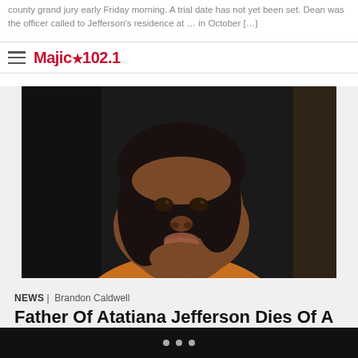county grand jury early Friday morning. A trial date has not yet been set. Dean was the officer called to Jefferson's residence at … in October […]
Majic ★ 102.1
[Figure (photo): Portrait photo of Atatiana Jefferson, a young Black woman with a dark bob haircut, looking upward, wearing an orange top, photographed in low light against a dark background.]
NEWS | Brandon Caldwell
Father Of Atatiana Jefferson Dies Of A Heart Attack
Another layer of tragedy has been added to the tragic killing of Atatiana Jefferson. Jefferson's father, Marquis…